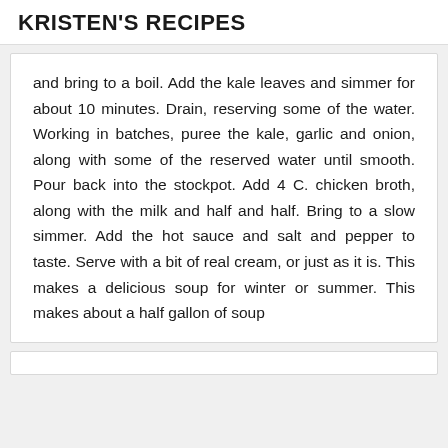KRISTEN'S RECIPES
and bring to a boil. Add the kale leaves and simmer for about 10 minutes. Drain, reserving some of the water. Working in batches, puree the kale, garlic and onion, along with some of the reserved water until smooth. Pour back into the stockpot. Add 4 C. chicken broth, along with the milk and half and half. Bring to a slow simmer. Add the hot sauce and salt and pepper to taste. Serve with a bit of real cream, or just as it is. This makes a delicious soup for winter or summer. This makes about a half gallon of soup